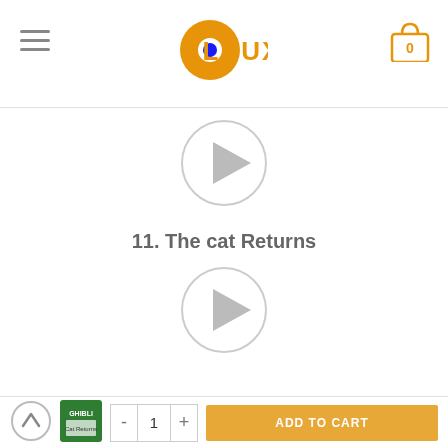[Figure (logo): Oluux brand logo — orange vinyl record with eye, orange text OLUUX]
[Figure (other): Hamburger menu icon (three horizontal lines)]
[Figure (other): Shopping cart icon with badge showing 0]
[Figure (other): Play button circle — grey outlined circle with grey play triangle]
11. The cat Returns
[Figure (other): Play button circle — grey outlined circle with grey play triangle]
[Figure (other): Back to top arrow button (circle with chevron up)]
[Figure (photo): Small product thumbnail — green album cover (Ghibli)]
[Figure (other): Quantity selector: minus button, 1, plus button]
ADD TO CART